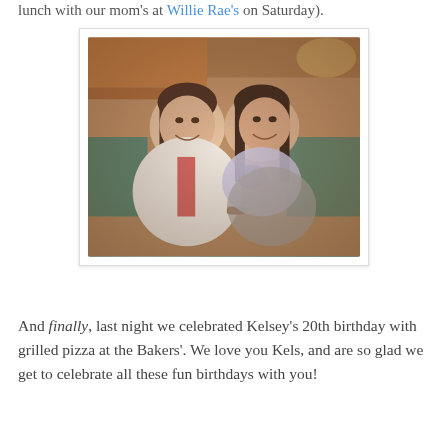lunch with our mom's at Willie Rae's on Saturday).
[Figure (photo): Two young women smiling and hugging at a restaurant. The woman on the left wears a white sweater with a red accent and a beaded bracelet. The woman on the right wears a floral/paisley scarf over a grey top. Background shows brick/wood wall tones with warm lighting.]
And finally, last night we celebrated Kelsey's 20th birthday with grilled pizza at the Bakers'. We love you Kels, and are so glad we get to celebrate all these fun birthdays with you!